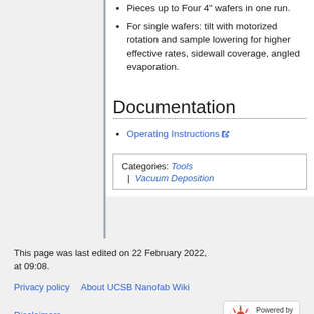Pieces up to Four 4" wafers in one run.
For single wafers: tilt with motorized rotation and sample lowering for higher effective rates, sidewall coverage, angled evaporation.
Documentation
Operating Instructions
Categories: Tools | Vacuum Deposition
This page was last edited on 22 February 2022, at 09:08.
Privacy policy   About UCSB Nanofab Wiki   Disclaimers